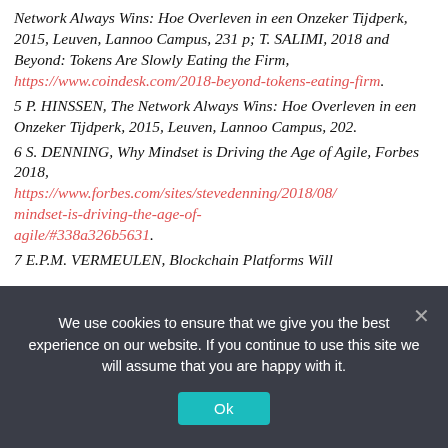Network Always Wins: Hoe Overleven in een Onzeker Tijdperk, 2015, Leuven, Lannoo Campus, 231 p; T. SALIMI, 2018 and Beyond: Tokens Are Slowly Eating the Firm, https://www.coindesk.com/2018-beyond-tokens-eating-firm.
5 P. HINSSEN, The Network Always Wins: Hoe Overleven in een Onzeker Tijdperk, 2015, Leuven, Lannoo Campus, 202.
6 S. DENNING, Why Mindset is Driving the Age of Agile, Forbes 2018, https://www.forbes.com/sites/stevedenning/2018/08/mindset-is-driving-the-age-of-agile/#338a326b5631.
7 E.P.M. VERMEULEN, Blockchain Platforms Will
We use cookies to ensure that we give you the best experience on our website. If you continue to use this site we will assume that you are happy with it.